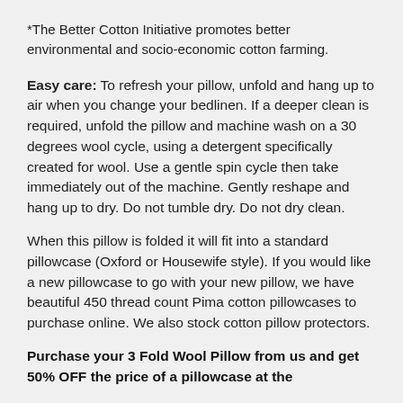*The Better Cotton Initiative promotes better environmental and socio-economic cotton farming.
Easy care: To refresh your pillow, unfold and hang up to air when you change your bedlinen. If a deeper clean is required, unfold the pillow and machine wash on a 30 degrees wool cycle, using a detergent specifically created for wool. Use a gentle spin cycle then take immediately out of the machine. Gently reshape and hang up to dry. Do not tumble dry. Do not dry clean.
When this pillow is folded it will fit into a standard pillowcase (Oxford or Housewife style). If you would like a new pillowcase to go with your new pillow, we have beautiful 450 thread count Pima cotton pillowcases to purchase online. We also stock cotton pillow protectors.
Purchase your 3 Fold Wool Pillow from us and get 50% OFF the price of a pillowcase at the